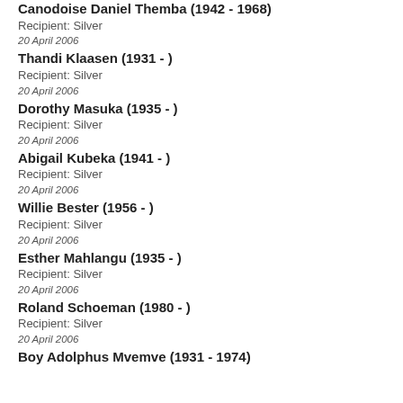Canodoise Daniel Themba (1942 - 1968)
Recipient: Silver
20 April 2006
Thandi Klaasen (1931 - )
Recipient: Silver
20 April 2006
Dorothy Masuka (1935 - )
Recipient: Silver
20 April 2006
Abigail Kubeka (1941 - )
Recipient: Silver
20 April 2006
Willie Bester (1956 - )
Recipient: Silver
20 April 2006
Esther Mahlangu (1935 - )
Recipient: Silver
20 April 2006
Roland Schoeman (1980 - )
Recipient: Silver
20 April 2006
Boy Adolphus Mvemve (1931 - 1974)